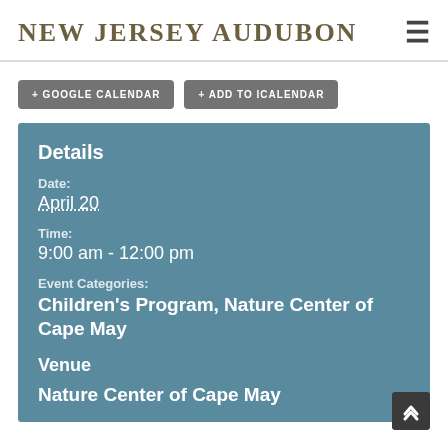NEW JERSEY AUDUBON
+ GOOGLE CALENDAR
+ ADD TO ICALENDAR
Details
Date:
April 20
Time:
9:00 am - 12:00 pm
Event Categories:
Children's Program, Nature Center of Cape May
Venue
Nature Center of Cape May